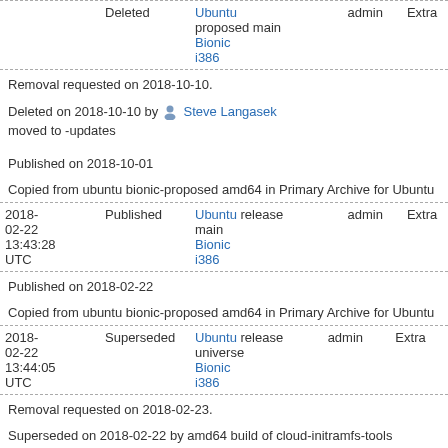| Date | Status | Distro | Release | Section | Component | Urgency |
| --- | --- | --- | --- | --- | --- | --- |
|  | Deleted | Ubuntu Bionic i386 | proposed | main | admin | Extra |
Removal requested on 2018-10-10.
Deleted on 2018-10-10 by Steve Langasek
moved to -updates
Published on 2018-10-01
Copied from ubuntu bionic-proposed amd64 in Primary Archive for Ubuntu
| Date | Status | Distro | Release | Section | Component | Urgency |
| --- | --- | --- | --- | --- | --- | --- |
| 2018-02-22 13:43:28 UTC | Published | Ubuntu Bionic i386 | release | main | admin | Extra |
Published on 2018-02-22
Copied from ubuntu bionic-proposed amd64 in Primary Archive for Ubuntu
| Date | Status | Distro | Release | Section | Component | Urgency |
| --- | --- | --- | --- | --- | --- | --- |
| 2018-02-22 13:44:05 UTC | Superseded | Ubuntu Bionic i386 | release | universe | admin | Extra |
Removal requested on 2018-02-23.
Superseded on 2018-02-22 by amd64 build of cloud-initramfs-tools 0.40ubunt
PROPOSED